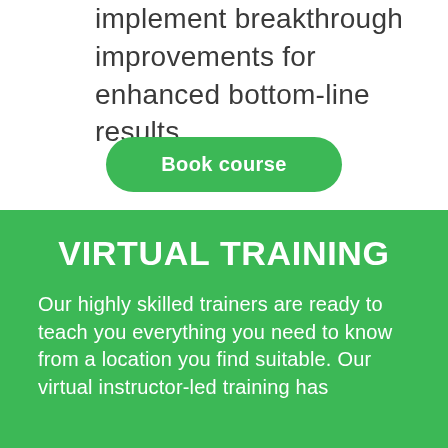implement breakthrough improvements for enhanced bottom-line results.
Book course
VIRTUAL TRAINING
Our highly skilled trainers are ready to teach you everything you need to know from a location you find suitable. Our virtual instructor-led training has